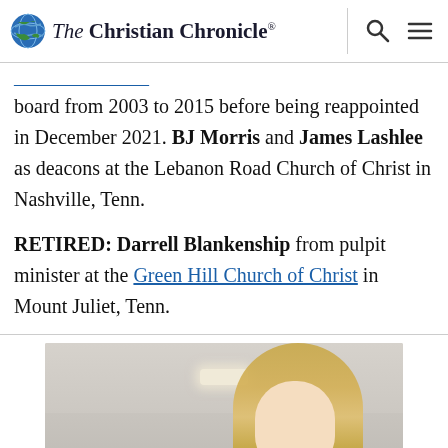The Christian Chronicle®
board from 2003 to 2015 before being reappointed in December 2021. BJ Morris and James Lashlee as deacons at the Lebanon Road Church of Christ in Nashville, Tenn.
RETIRED: Darrell Blankenship from pulpit minister at the Green Hill Church of Christ in Mount Juliet, Tenn.
[Figure (photo): Partial photo of a blonde woman inside what appears to be a vehicle or indoor setting with a ceiling light visible above.]